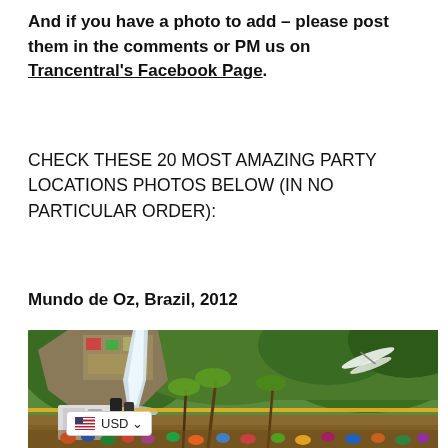And if you have a photo to add – please post them in the comments or PM us on Trancentral's Facebook Page.
CHECK THESE 20 MOST AMAZING PARTY LOCATIONS PHOTOS BELOW (IN NO PARTICULAR ORDER):
Mundo de Oz, Brazil, 2012
[Figure (photo): Outdoor party/festival at Mundo de Oz, Brazil, 2012. A large waterfall cascades down rocky cliffs painted with colorful murals, surrounded by lush green jungle. In the foreground, a crowd of festival-goers, palm trees, speakers, and a DJ booth area are visible. A large dragonfly decoration hangs in the upper right.]